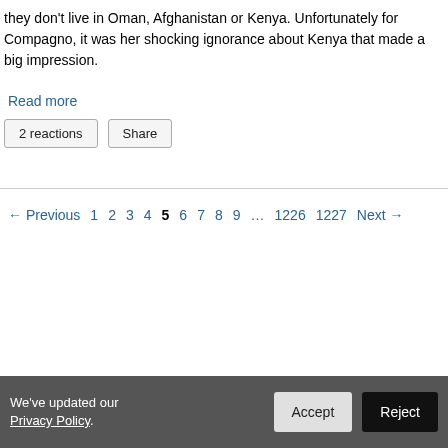they don't live in Oman, Afghanistan or Kenya. Unfortunately for Compagno, it was her shocking ignorance about Kenya that made a big impression.
Read more
2 reactions   Share
← Previous  1  2  3  4  5  6  7  8  9  ...  1226  1227  Next →
We've updated our Privacy Policy.  Accept  Reject